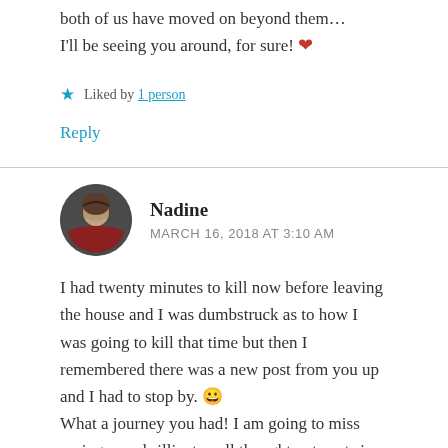both of us have moved on beyond them… I'll be seeing you around, for sure! ❤
★ Liked by 1 person
Reply
Nadine
MARCH 16, 2018 AT 3:10 AM
I had twenty minutes to kill now before leaving the house and I was dumbstruck as to how I was going to kill that time but then I remembered there was a new post from you up and I had to stop by. 😀 What a journey you had! I am going to miss seeing your brilliant, well thought out posts in my reader. I have said it before but you can obviously see how